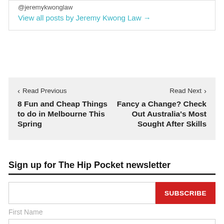@jeremykwonglaw
View all posts by Jeremy Kwong Law →
Read Previous
8 Fun and Cheap Things to do in Melbourne This Spring
Read Next
Fancy a Change? Check Out Australia's Most Sought After Skills
Sign up for The Hip Pocket newsletter
First Name
Last Name